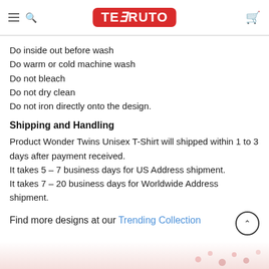TEERUTO
Do inside out before wash
Do warm or cold machine wash
Do not bleach
Do not dry clean
Do not iron directly onto the design.
Shipping and Handling
Product Wonder Twins Unisex T-Shirt will shipped within 1 to 3 days after payment received.
It takes 5 – 7 business days for US Address shipment.
It takes 7 – 20 business days for Worldwide Address shipment.
Find more designs at our Trending Collection